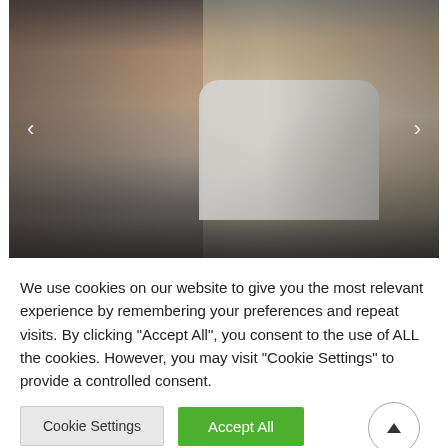[Figure (photo): Two people standing back to back holding tablets/devices, against a dark grey wall background. One person on the left wearing white shirt with short dark hair, the other on the right wearing a white sleeveless top. Carousel navigation arrows visible on left and right sides.]
We use cookies on our website to give you the most relevant experience by remembering your preferences and repeat visits. By clicking "Accept All", you consent to the use of ALL the cookies. However, you may visit "Cookie Settings" to provide a controlled consent.